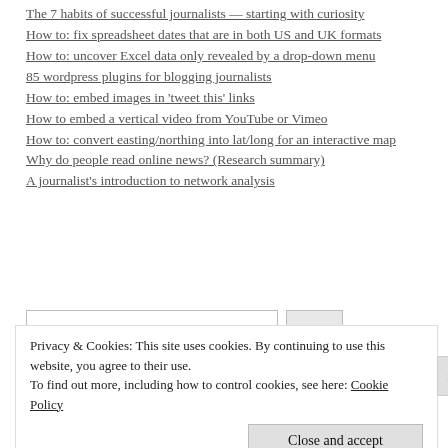The 7 habits of successful journalists — starting with curiosity
How to: fix spreadsheet dates that are in both US and UK formats
How to: uncover Excel data only revealed by a drop-down menu
85 wordpress plugins for blogging journalists
How to: embed images in 'tweet this' links
How to embed a vertical video from YouTube or Vimeo
How to: convert easting/northing into lat/long for an interactive map
Why do people read online news? (Research summary)
A journalist's introduction to network analysis
Privacy & Cookies: This site uses cookies. By continuing to use this website, you agree to their use.
To find out more, including how to control cookies, see here: Cookie Policy
Close and accept